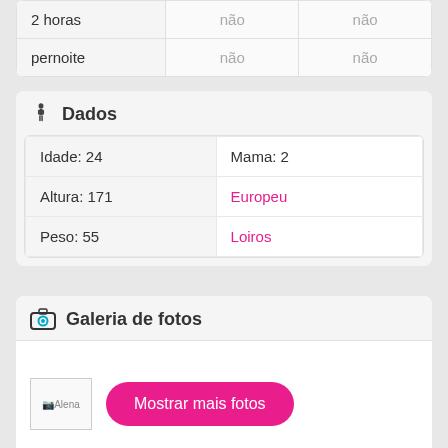|  |  |  |
| --- | --- | --- |
| 2 horas | não | não |
| pernoite | não | não |
Dados
|  |  |
| --- | --- |
| Idade: 24 | Mama: 2 |
| Altura: 171 | Europeu |
| Peso: 55 | Loiros |
Galeria de fotos
[Figure (photo): Image placeholder labeled Alena]
Mostrar mais fotos